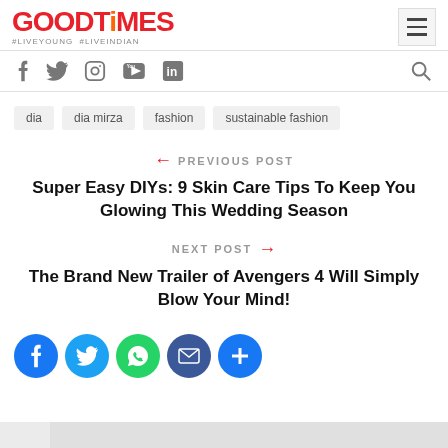GOODTiMES #LIVEYOUNG #LIVEINDIAN
dia
dia mirza
fashion
sustainable fashion
← PREVIOUS POST
Super Easy DIYs: 9 Skin Care Tips To Keep You Glowing This Wedding Season
NEXT POST →
The Brand New Trailer of Avengers 4 Will Simply Blow Your Mind!